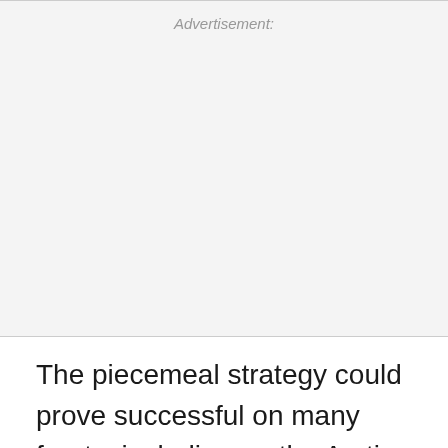Advertisement:
The piecemeal strategy could prove successful on many fronts, including on the Arctic Refuge. "The vote numbers effectively haven't moved on MTBE [given the